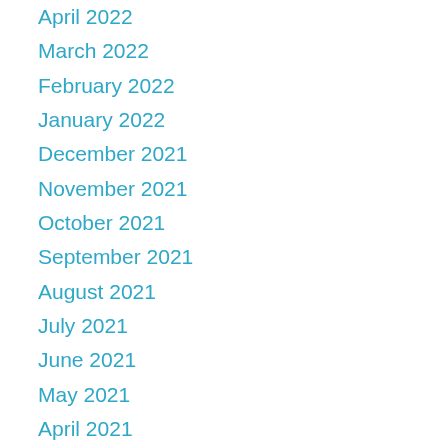April 2022
March 2022
February 2022
January 2022
December 2021
November 2021
October 2021
September 2021
August 2021
July 2021
June 2021
May 2021
April 2021
March 2021
February 2021
January 2021
December 2020
November 2020
October 2020